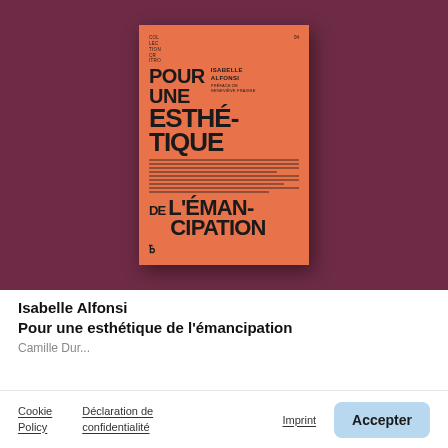[Figure (photo): Book cover of 'Pour une esthétique de l'émancipation' by Isabelle Alfonsi, with preface by Geneviève Fraisse, displayed on a dark burgundy/wine-colored background. The book cover is orange with bold black typography.]
Isabelle Alfonsi
Pour une esthétique de l'émancipation
Camille Dur...
Cookie Policy   Déclaration de confidentialité   Imprint   Accepter